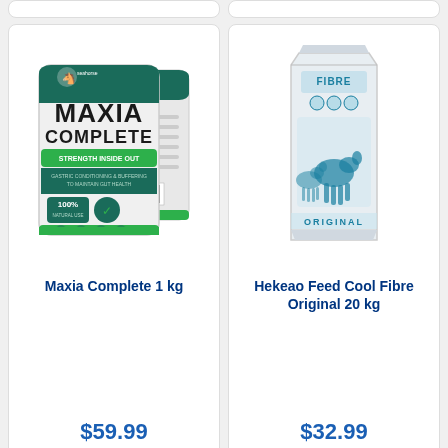[Figure (photo): Partial top edge of two product cards (cropped, no visible content)]
[Figure (photo): Maxia Complete 1 kg product bag - white bag with dark teal top, green banner reading STRENGTH INSIDE OUT, seahorse logo, 100% natural label]
Maxia Complete 1 kg
$59.99
[Figure (photo): Hekeao Feed Cool Fibre Original 20 kg product bag - white/light grey rectangular bag with teal horse logo and FIBRE ORIGINAL text]
Hekeao Feed Cool Fibre Original 20 kg
$32.99